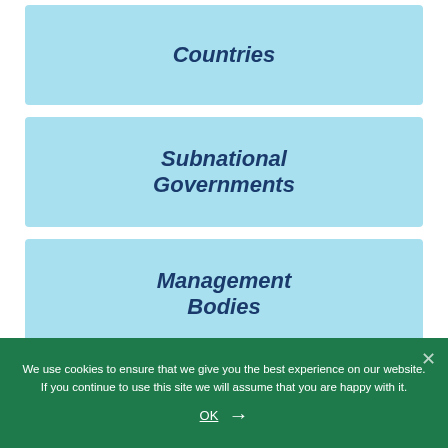[Figure (infographic): Three light blue rectangular cards stacked vertically. First card labeled 'Countries', second labeled 'Subnational Governments', third labeled 'Management Bodies'. Each card has dark navy bold italic text centered within it.]
We use cookies to ensure that we give you the best experience on our website. If you continue to use this site we will assume that you are happy with it.
OK →